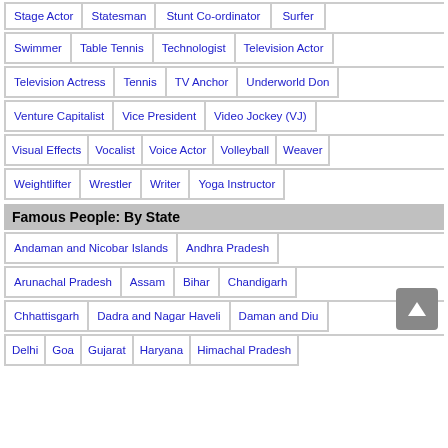Stage Actor
Statesman
Stunt Co-ordinator
Surfer
Swimmer
Table Tennis
Technologist
Television Actor
Television Actress
Tennis
TV Anchor
Underworld Don
Venture Capitalist
Vice President
Video Jockey (VJ)
Visual Effects
Vocalist
Voice Actor
Volleyball
Weaver
Weightlifter
Wrestler
Writer
Yoga Instructor
Famous People: By State
Andaman and Nicobar Islands
Andhra Pradesh
Arunachal Pradesh
Assam
Bihar
Chandigarh
Chhattisgarh
Dadra and Nagar Haveli
Daman and Diu
Delhi
Goa
Gujarat
Haryana
Himachal Pradesh